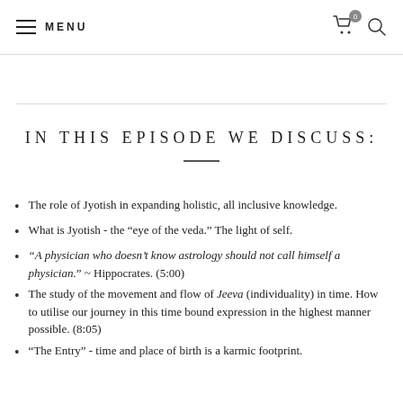MENU
IN THIS EPISODE WE DISCUSS:
The role of Jyotish in expanding holistic, all inclusive knowledge.
What is Jyotish - the “eye of the veda.” The light of self.
“A physician who doesn’t know astrology should not call himself a physician.” ~ Hippocrates. (5:00)
The study of the movement and flow of Jeeva (individuality) in time. How to utilise our journey in this time bound expression in the highest manner possible. (8:05)
“The Entry” - time and place of birth is a karmic footprint.